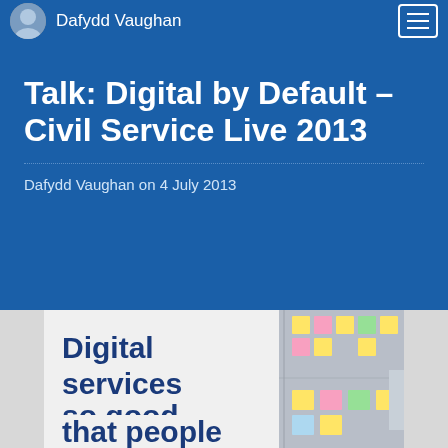Dafydd Vaughan
Talk: Digital by Default – Civil Service Live 2013
Dafydd Vaughan on 4 July 2013
[Figure (photo): Photo of a sign reading 'Digital services so good that people' with a board covered in colourful sticky notes in the background]